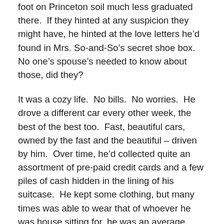foot on Princeton soil much less graduated there.  If they hinted at any suspicion they might have, he hinted at the love letters he'd found in Mrs. So-and-So's secret shoe box.  No one's spouse's needed to know about those, did they?
It was a cozy life.  No bills.  No worries.  He drove a different car every other week, the best of the best too.  Fast, beautiful cars, owned by the fast and the beautiful – driven by him.  Over time, he'd collected quite an assortment of pre-paid credit cards and a few piles of cash hidden in the lining of his suitcase.  He kept some clothing, but many times was able to wear that of whoever he was house sitting for, he was an average build, somewhat fit.
Sarah left town.  She had an apartment somewhere on the other side of the country, some blither about trying to get